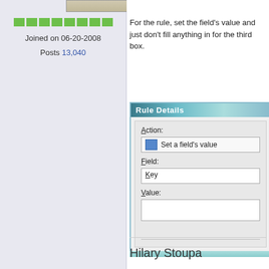[Figure (photo): Partial avatar/profile photo at top of left column]
[Figure (infographic): Row of 8 green rank/reputation squares]
Joined on 06-20-2008
Posts 13,040
For the rule, set the field's value and just don't fill anything in for the third box.
[Figure (screenshot): Rule Details dialog box showing Action: Set a field's value, Field: Key, Value: (empty text box)]
Hilary Stoupa